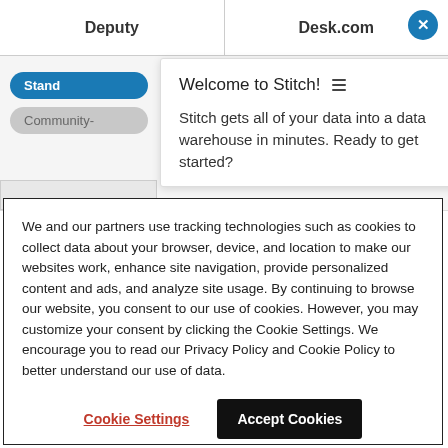[Figure (screenshot): Screenshot of a web app comparison page showing Deputy and Desk.com columns with a welcome tooltip popup from Stitch saying 'Welcome to Stitch! Stitch gets all of your data into a data warehouse in minutes. Ready to get started?']
We and our partners use tracking technologies such as cookies to collect data about your browser, device, and location to make our websites work, enhance site navigation, provide personalized content and ads, and analyze site usage. By continuing to browse our website, you consent to our use of cookies. However, you may customize your consent by clicking the Cookie Settings. We encourage you to read our Privacy Policy and Cookie Policy to better understand our use of data.
Cookie Settings
Accept Cookies